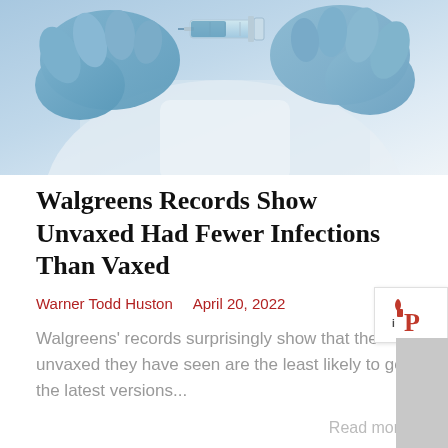[Figure (photo): Close-up photo of a medical professional in blue gloves holding a syringe with a blue liquid, preparing an injection. Background shows white coat.]
Walgreens Records Show Unvaxed Had Fewer Infections Than Vaxed
Warner Todd Huston    April 20, 2022
Walgreens' records surprisingly show that the unvaxed they have seen are the least likely to get the latest versions...
Read more